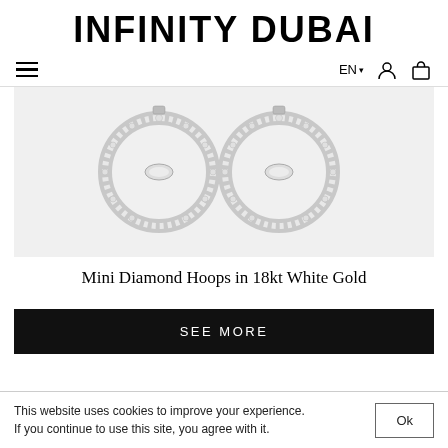INFINITY DUBAI
≡  EN ▾  [user icon]  [bag icon]
[Figure (photo): Two diamond hoop earrings in 18kt white gold on a light grey background, showing pavé-set diamonds and a marquise-cut center stone on each hoop.]
Mini Diamond Hoops in 18kt White Gold
SEE MORE
This website uses cookies to improve your experience. If you continue to use this site, you agree with it.